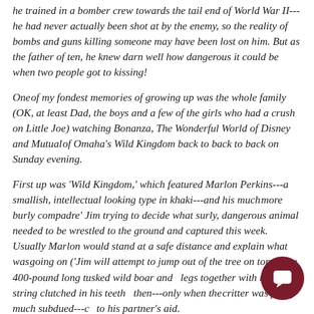he trained in a bomber crew towards the tail end of World War II---he had never actually been shot at by the enemy, so the reality of bombs and guns killing someone may have been lost on him. But as the father of ten, he knew darn well how dangerous it could be when two people got to kissing!
One of my fondest memories of growing up was the whole family (OK, at least Dad, the boys and a few of the girls who had a crush on Little Joe) watching Bonanza, The Wonderful World of Disney and Mutual of Omaha's Wild Kingdom back to back to back on Sunday evening.
First up was 'Wild Kingdom,' which featured Marlon Perkins---a smallish, intellectual looking type in khaki---and his much more burly compadre' Jim trying to decide what surly, dangerous animal needed to be wrestled to the ground and captured this week. Usually Marlon would stand at a safe distance and explain what was going on ('Jim will attempt to jump out of the tree on top of the 400-pound long tusked wild boar and tie its legs together with the shoe string clutched in his teeth') and then---only when the critter was pretty much subdued---come to his partner's aid.